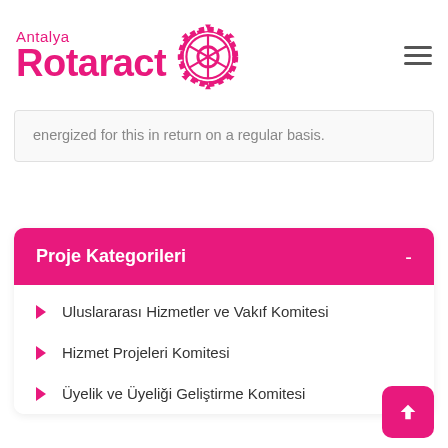[Figure (logo): Antalya Rotaract logo with gear/cog icon in pink/magenta color]
energized for this in return on a regular basis.
Proje Kategorileri
Uluslararası Hizmetler ve Vakıf Komitesi
Hizmet Projeleri Komitesi
Üyelik ve Üyeliği Geliştirme Komitesi